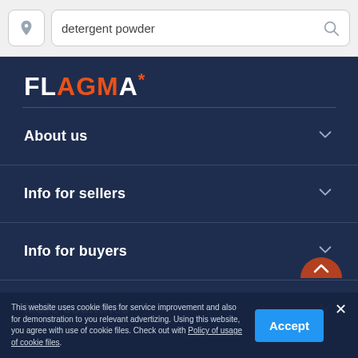[Figure (screenshot): Search bar with location pin icon on left and search icon on right, containing text 'detergent powder']
FLAGMA*
About us
Info for sellers
Info for buyers
More countries
This website uses cookie files for service improvement and also for demonstration to you relevant advertizing. Using this website, you agree with use of cookie files. Check out with Policy of usage of cookie files.